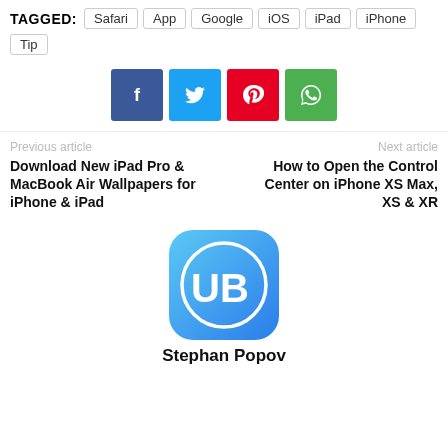TAGGED: Safari App Google iOS iPad iPhone Tip
[Figure (other): Social share buttons: Facebook (blue), Twitter (cyan), Pinterest (red), WhatsApp (green)]
Previous article
Download New iPad Pro & MacBook Air Wallpapers for iPhone & iPad
Next article
How to Open the Control Center on iPhone XS Max, XS & XR
[Figure (logo): UB logo — rounded square blue app icon with white circle and letters UB]
Stephan Popov